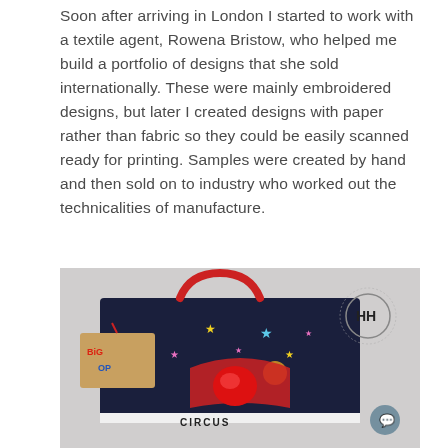Soon after arriving in London I started to work with a textile agent, Rowena Bristow, who helped me build a portfolio of designs that she sold internationally. These were mainly embroidered designs, but later I created designs with paper rather than fabric so they could be easily scanned ready for printing. Samples were created by hand and then sold on to industry who worked out the technicalities of manufacture.
[Figure (photo): A decorative handbag with a circus theme featuring colorful stars, a red handle, and a tag reading 'Big Op'. The bag has a dark navy background with stars and circus motifs. A circular 'HH' logo watermark is visible in the top right. A chat bubble icon is in the bottom right corner. The word 'CIRCUS' is partially visible at the bottom.]